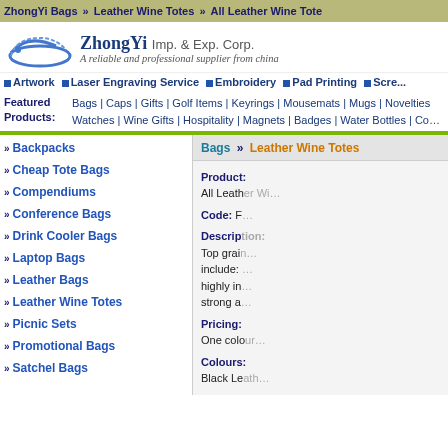ZhongYi Bags >> Leather Wine Totes >> All Leather Wine Tote
[Figure (logo): ZhongYi Imp. & Exp. Corp. logo with blue arc/swoosh graphic and company name and tagline 'A reliable and professional supplier from china']
Artwork | Laser Engraving Service | Embroidery | Pad Printing | Screen...
Featured Products: Bags | Caps | Gifts | Golf Items | Keyrings | Mousemats | Mugs | Novelties | Watches | Wine Gifts | Hospitality | Magnets | Badges | Water Bottles | Co...
Bags >> Leather Wine Totes
Backpacks
Cheap Tote Bags
Compendiums
Conference Bags
Drink Cooler Bags
Laptop Bags
Leather Bags
Leather Wine Totes
Picnic Sets
Promotional Bags
Satchel Bags
Product: All Leather Wine Tote
Code: F...
Description: Top grain... include:... highly in... strong a...
Pricing: One colo...
Colours: Black Le...
Product...